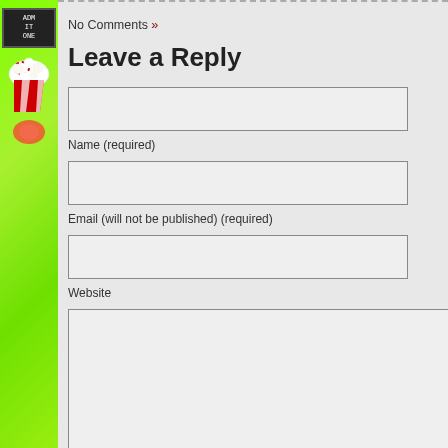No Comments »
Leave a Reply
Name (required)
Email (will not be published) (required)
Website